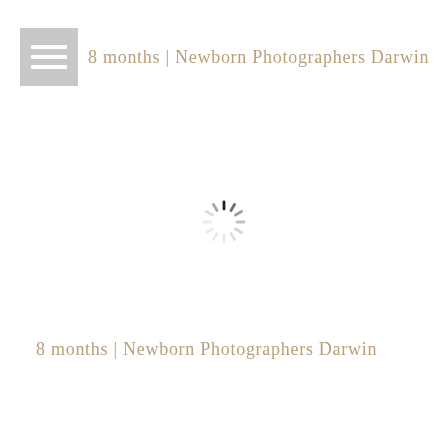8 months | Newborn Photographers Darwin
[Figure (other): Loading spinner icon — circular spinner with dark tick marks radiating outward, indicating page content is loading]
8 months | Newborn Photographers Darwin